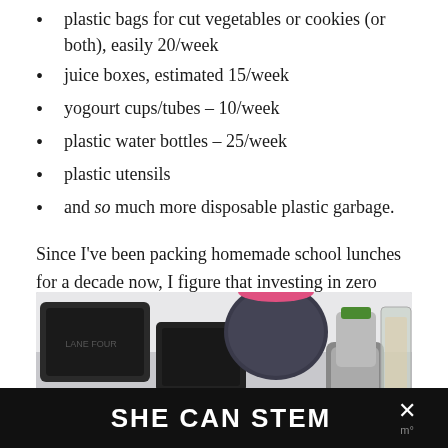plastic bags for cut vegetables or cookies (or both), easily 20/week
juice boxes, estimated 15/week
yogourt cups/tubes – 10/week
plastic water bottles – 25/week
plastic utensils
and so much more disposable plastic garbage.
Since I've been packing homemade school lunches for a decade now, I figure that investing in zero waste gear has kept me from sending thousands of baggies, bottles and plastic containers to the landfills.
[Figure (photo): Photo of zero waste lunch gear including dark lunch boxes/containers, a speckled water bottle with pink lid, a green-capped container, and a glass jar with oats or granola, arranged on a white surface.]
SHE CAN STEM